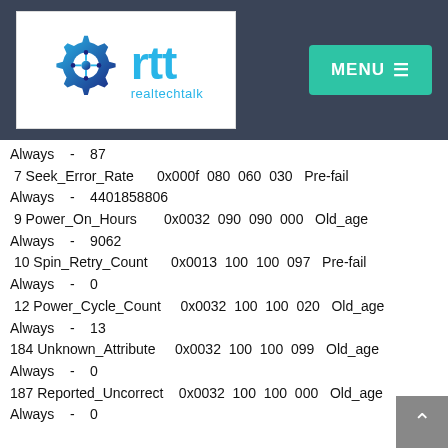[Figure (logo): realtechtalk (rtt) logo with gear icon and teal MENU button on dark header]
Always - 87
7 Seek_Error_Rate   0x000f 080 060 030 Pre-fail Always - 4401858806
9 Power_On_Hours   0x0032 090 090 000 Old_age Always - 9062
10 Spin_Retry_Count   0x0013 100 100 097 Pre-fail Always - 0
12 Power_Cycle_Count   0x0032 100 100 020 Old_age Always - 13
184 Unknown_Attribute   0x0032 100 100 099 Old_age Always - 0
187 Reported_Uncorrect   0x0032 100 100 000 Old_age Always - 0